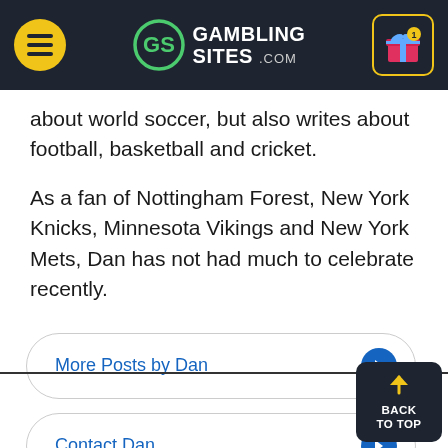[Figure (logo): GamblingSites.com header with hamburger menu icon on left (yellow circle), GS logo and GAMBLING SITES .COM text in center on dark background, gift box icon with notification badge on right in yellow-bordered box]
about world soccer, but also writes about football, basketball and cricket.
As a fan of Nottingham Forest, New York Knicks, Minnesota Vikings and New York Mets, Dan has not had much to celebrate recently.
More Posts by Dan
Contact Dan
Dan on Twitter
BACK TO TOP